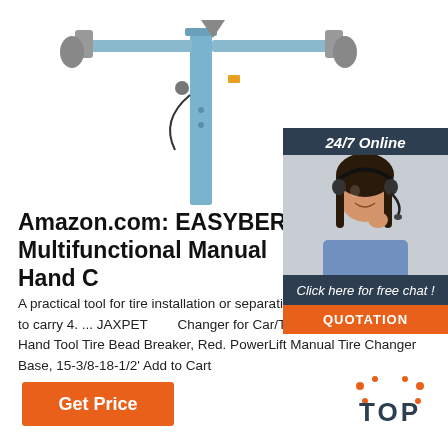[Figure (photo): Partial view of a tire changer machine with blue column and mounted arms, white background]
[Figure (photo): 24/7 Online chat support box with a woman wearing a headset, dark blue background, orange QUOTATION button]
Amazon.com: EASYBERG Multifunctional Manual Hand C…
A practical tool for tire installation or separation to use and convenient to carry 4. ... JAXPET Changer for Car/Truck/Motorcycle Portable Hand Tool Tire Bead Breaker, Red. PowerLift Manual Tire Changer Base, 15-3/8-18-1/2' Add to Cart
[Figure (other): Get Price orange button]
[Figure (other): TOP badge with orange dot decorations]